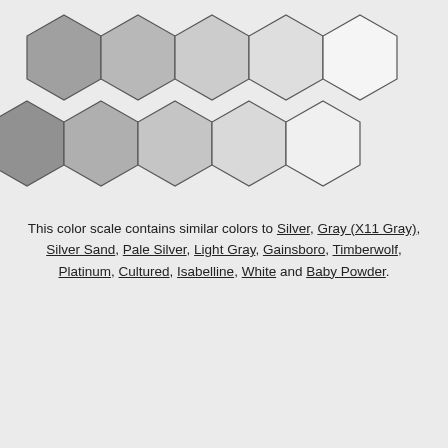[Figure (illustration): Two rows of hexagonal color swatches ranging from dark gray to white, arranged in a honeycomb pattern. Top row has 5 hexagons, bottom row has 5 hexagons offset. Colors transition from medium gray on the left to white on the right.]
This color scale contains similar colors to Silver, Gray (X11 Gray), Silver Sand, Pale Silver, Light Gray, Gainsboro, Timberwolf, Platinum, Cultured, Isabelline, White and Baby Powder.